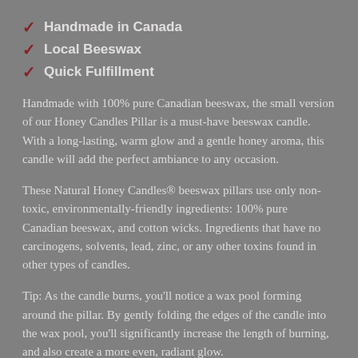Handmade in Canada
Local Beeswax
Quick Fulfillment
Handmade with 100% pure Canadian beeswax, the small version of our Honey Candles Pillar is a must-have beeswax candle. With a long-lasting, warm glow and a gentle honey aroma, this candle will add the perfect ambiance to any occasion.
These Natural Honey Candles® beeswax pillars use only non-toxic, environmentally-friendly ingredients: 100% pure Canadian beeswax, and cotton wicks. Ingredients that have no carcinogens, solvents, lead, zinc, or any other toxins found in other types of candles.
Tip: As the candle burns, you'll notice a wax pool forming around the pillar. By gently folding the edges of the candle into the wax pool, you'll significantly increase the length of burning, and also create a more even, radiant glow.